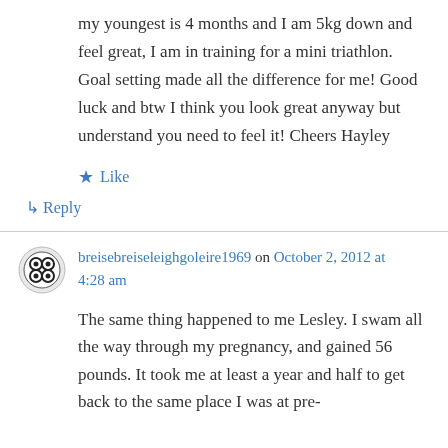my youngest is 4 months and I am 5kg down and feel great, I am in training for a mini triathlon. Goal setting made all the difference for me! Good luck and btw I think you look great anyway but understand you need to feel it! Cheers Hayley
★ Like
↳ Reply
breisebreiseleighgoleire1969 on October 2, 2012 at 4:28 am
The same thing happened to me Lesley. I swam all the way through my pregnancy, and gained 56 pounds. It took me at least a year and half to get back to the same place I was at pre-